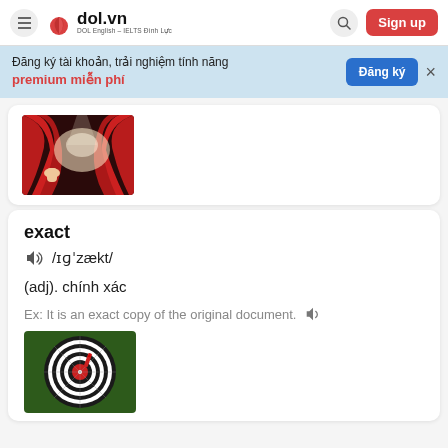dol.vn DOL English – IELTS Đình Lực | Sign up
Đăng ký tài khoản, trải nghiệm tính năng premium miễn phí
[Figure (photo): Red stage curtain being pulled back, with bright spotlight]
exact
/ɪɡˈzækt/
(adj). chính xác
Ex: It is an exact copy of the original document.
[Figure (photo): A dartboard with a red dart in the bullseye on a green background]